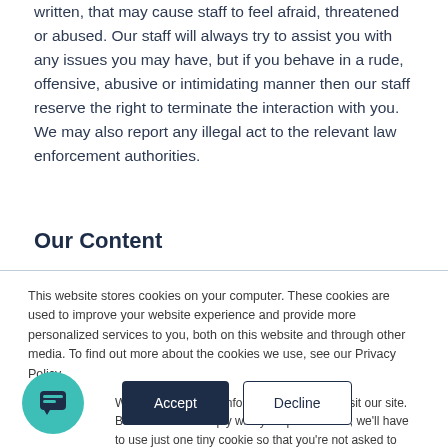written, that may cause staff to feel afraid, threatened or abused. Our staff will always try to assist you with any issues you may have, but if you behave in a rude, offensive, abusive or intimidating manner then our staff reserve the right to terminate the interaction with you. We may also report any illegal act to the relevant law enforcement authorities.
Our Content
This website stores cookies on your computer. These cookies are used to improve your website experience and provide more personalized services to you, both on this website and through other media. To find out more about the cookies we use, see our Privacy Policy.
We won't track your information when you visit our site. But in order to comply with your preferences, we'll have to use just one tiny cookie so that you're not asked to make this choice again.
[Figure (illustration): Teal circular chat icon with speech bubble symbol]
Accept
Decline